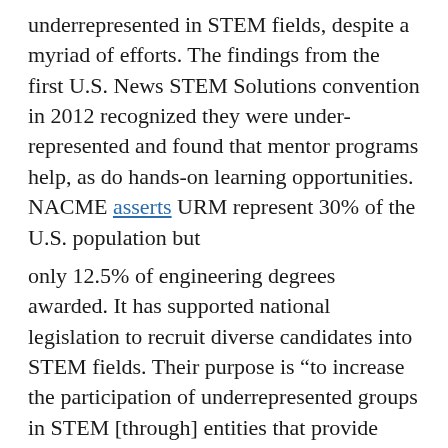underrepresented in STEM fields, despite a myriad of efforts. The findings from the first U.S. News STEM Solutions convention in 2012 recognized they were under-represented and found that mentor programs help, as do hands-on learning opportunities.  NACME asserts URM represent 30% of the U.S. population but
only 12.5% of engineering degrees awarded. It has supported national legislation to recruit diverse candidates into STEM fields. Their purpose is “to increase the participation of underrepresented groups in STEM [through] entities that provide online workshops, mentoring programs, internships, or outreach programs.”
Interestingly enough, technical prowess is not sufficient to obtain and hold a well-paid technical position. Richard Celeste, former governor of Ohio and former president of Colorado College, co-chaired